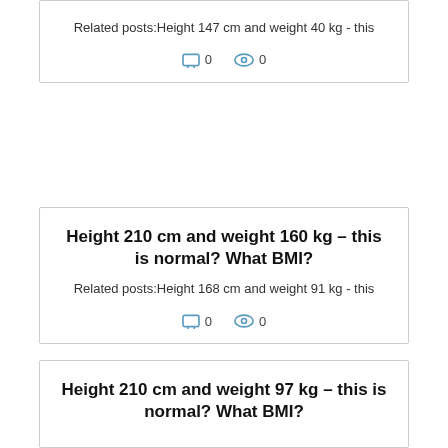Related posts:Height 147 cm and weight 40 kg - this
comments: 0   views: 0
Height 210 cm and weight 160 kg – this is normal? What BMI?
Related posts:Height 168 cm and weight 91 kg - this
comments: 0   views: 0
Height 210 cm and weight 97 kg – this is normal? What BMI?